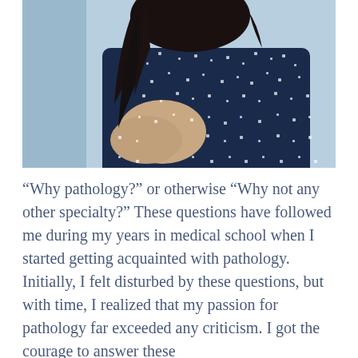[Figure (photo): A woman with long dark wavy hair, seen from behind/side, wearing a navy blue dress with small white polka dots/squares, arms crossed, against a light blue background.]
“Why pathology?” or otherwise “Why not any other specialty?” These questions have followed me during my years in medical school when I started getting acquainted with pathology. Initially, I felt disturbed by these questions, but with time, I realized that my passion for pathology far exceeded any criticism. I got the courage to answer these